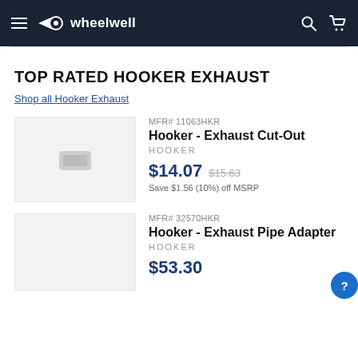wheelwell
TOP RATED HOOKER EXHAUST
Shop all Hooker Exhaust
MFR# 11063HKR
Hooker - Exhaust Cut-Out
HOOKER
$14.07 $15.63
Save $1.56 (10%) off MSRP
MFR# 32570HKR
Hooker - Exhaust Pipe Adapter
HOOKER
$53.30